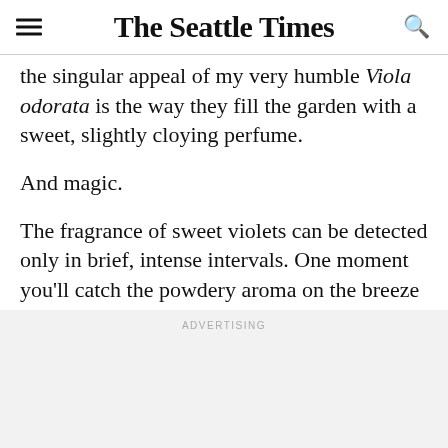The Seattle Times
the singular appeal of my very humble Viola odorata is the way they fill the garden with a sweet, slightly cloying perfume.
And magic.
The fragrance of sweet violets can be detected only in brief, intense intervals. One moment you'll catch the powdery aroma on the breeze — then nothing, just mud and wet knees in the chilly spring garden.
ADVERTISING